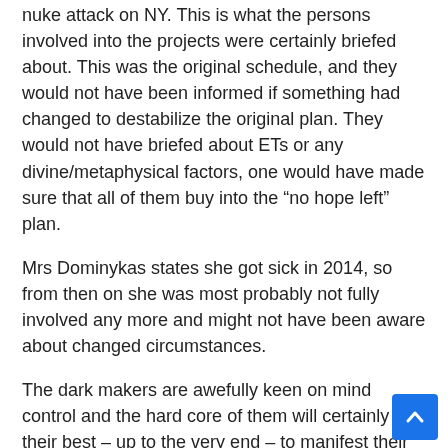nuke attack on NY. This is what the persons involved into the projects were certainly briefed about. This was the original schedule, and they would not have been informed if something had changed to destabilize the original plan. They would not have briefed about ETs or any divine/metaphysical factors, one would have made sure that all of them buy into the “no hope left” plan.
Mrs Dominykas states she got sick in 2014, so from then on she was most probably not fully involved any more and might not have been aware about changed circumstances.
The dark makers are awefully keen on mind control and the hard core of them will certainly try their best – up to the very end – to manifest their evil agenda, but their group is just about to loose power and there is evidence already for that.
After Mrs. Domiykas has now revealed her name it could even happen that she will not even last until end of this year, one would certainly be prepared to take her out earlier, so that would not be able any more to answer further questions.